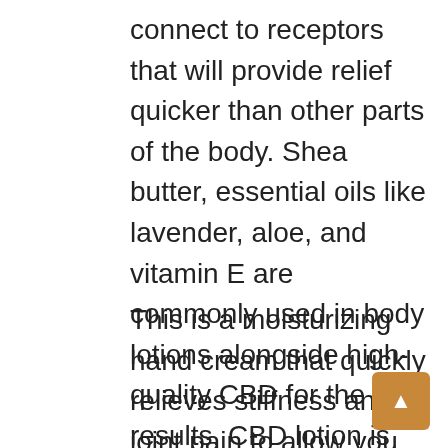connect to receptors that will provide relief quicker than other parts of the body. Shea butter, essential oils like lavender, aloe, and vitamin E are commonly used in body lotions alongside high-quality CBD for the best results. CBD lotion is quite simply a lotion that is infused with CBD from the cannabis plant to provide extra health benefits.
This is a moisturizing hand cream that quickly relieves stiffness and joint pain to allow you freedom of movement. It comes in an easy-to-use pump bottle and contains CBD hemp oil with 4% menthol for extra pain relief. CBD lotion is not only incredibly soothing, but is also one of the most popular ways for people to get their daily serving of CBD.